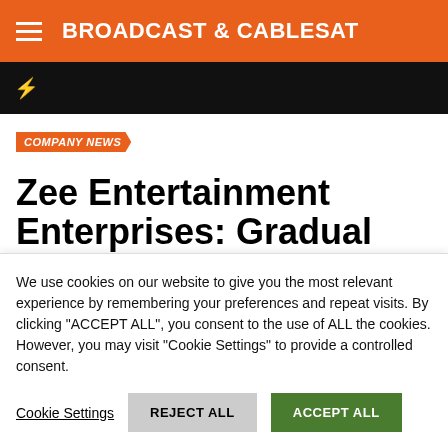BROADCAST & CABLESAT
COMPANY NEWS
Zee Entertainment Enterprises: Gradual recovery in ad revenue.
We use cookies on our website to give you the most relevant experience by remembering your preferences and repeat visits. By clicking "ACCEPT ALL", you consent to the use of ALL the cookies. However, you may visit "Cookie Settings" to provide a controlled consent.